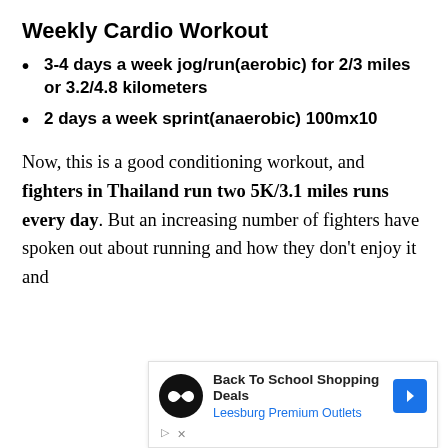Weekly Cardio Workout
3-4 days a week jog/run(aerobic) for 2/3 miles or 3.2/4.8 kilometers
2 days a week sprint(anaerobic) 100mx10
Now, this is a good conditioning workout, and fighters in Thailand run two 5K/3.1 miles runs every day. But an increasing number of fighters have spoken out about running and how they don't enjoy it and
[Figure (other): Advertisement banner for Back To School Shopping Deals at Leesburg Premium Outlets with a circular black logo with infinity-like symbol, blue arrow navigation button, and ad controls]